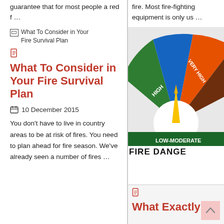guarantee that for most people a red f …
[Figure (other): Broken image placeholder: What To Consider in Your Fire Survival Plan]
[Figure (other): Document icon (red)]
What To Consider in Your Fire Survival Plan
10 December 2015
You don't have to live in country areas to be at risk of fires. You need to plan ahead for fire season. We've already seen a number of fires …
fire. Most fire-fighting equipment is only us …
[Figure (infographic): Fire danger rating dial showing LOW-MODERATE (green), HIGH (blue), VERY HIGH (orange), and EXTREME (dark red/brown) sections with a yellow arrow pointer. Text at bottom reads FIRE DANGER.]
[Figure (other): Document icon (red) for second article]
What Exactly